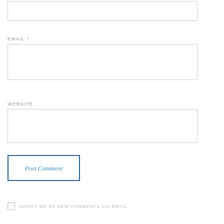EMAIL *
WEBSITE
Post Comment
NOTIFY ME OF NEW COMMENTS VIA EMAIL.